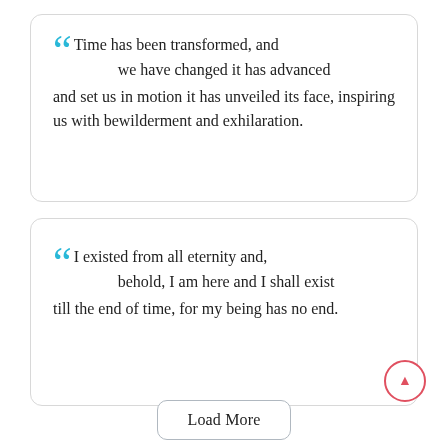“Time has been transformed, and we have changed it has advanced and set us in motion it has unveiled its face, inspiring us with bewilderment and exhilaration.
“I existed from all eternity and, behold, I am here and I shall exist till the end of time, for my being has no end.
Load More